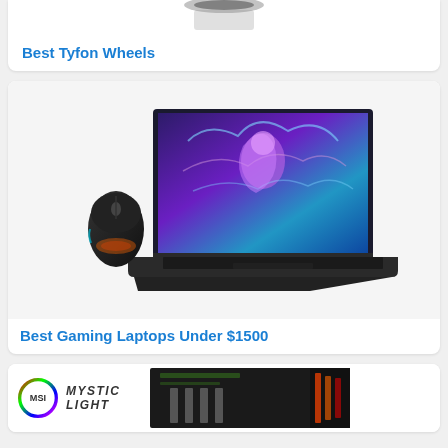[Figure (photo): Partial view of a product image at the top of the page, appears to show Tyfon wheels product]
Best Tyfon Wheels
[Figure (photo): Gaming laptop with colorful purple/blue display showing anime character, with a black RGB gaming mouse beside it]
Best Gaming Laptops Under $1500
[Figure (photo): Partial image showing MSI Mystic Light logo and what appears to be an MSI motherboard with RGB lighting]